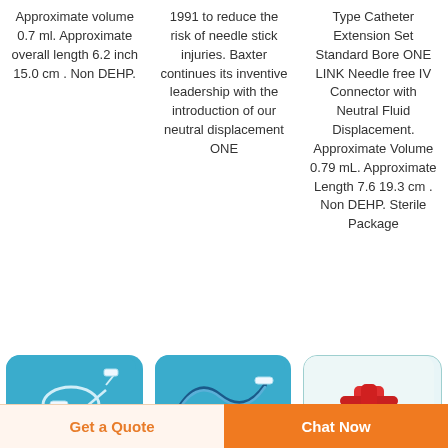Approximate volume 0.7 ml. Approximate overall length 6.2 inch 15.0 cm . Non DEHP.
1991 to reduce the risk of needle stick injuries. Baxter continues its inventive leadership with the introduction of our neutral displacement ONE
Type Catheter Extension Set Standard Bore ONE LINK Needle free IV Connector with Neutral Fluid Displacement. Approximate Volume 0.79 mL. Approximate Length 7.6 19.3 cm . Non DEHP. Sterile Package
[Figure (photo): Medical IV catheter/tubing set on blue background]
[Figure (photo): Medical catheter extension set on blue background]
[Figure (photo): Red and teal medical connector/valve device on light background]